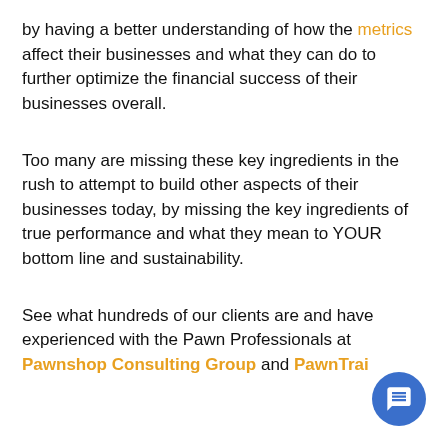by having a better understanding of how the metrics affect their businesses and what they can do to further optimize the financial success of their businesses overall.
Too many are missing these key ingredients in the rush to attempt to build other aspects of their businesses today, by missing the key ingredients of true performance and what they mean to YOUR bottom line and sustainability.
See what hundreds of our clients are and have experienced with the Pawn Professionals at Pawnshop Consulting Group and PawnTrai...